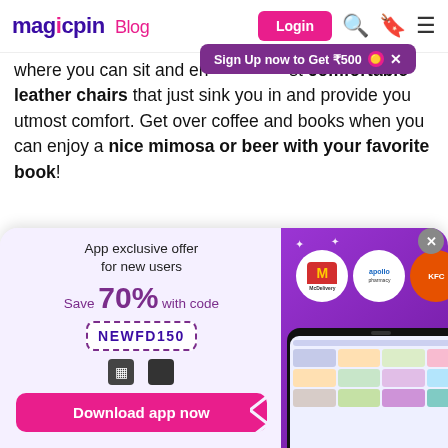magicpin Blog — Login button, search icon, bookmark icon, menu icon
Sign Up now to Get ₹500 🟡 ✕
where you can sit and enjoy the most comfortable leather chairs that just sink you in and provide you utmost comfort. Get over coffee and books when you can enjoy a nice mimosa or beer with your favorite book!
[Figure (infographic): Magicpin app promotional banner: App exclusive offer for new users. Save 70% with code NEWFD150. Download app now button. Right side shows purple background with McDelivery, Apollo, and another brand logo circles, plus a phone mockup showing the app interface.]